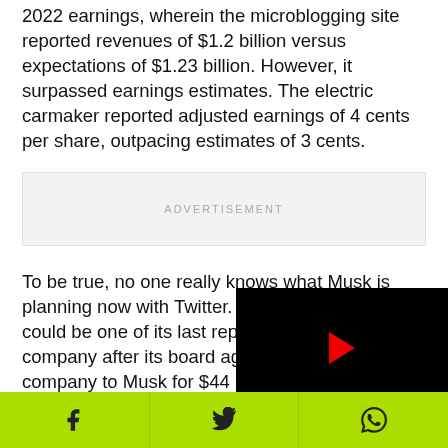2022 earnings, wherein the microblogging site reported revenues of $1.2 billion versus expectations of $1.23 billion. However, it surpassed earnings estimates. The electric carmaker reported adjusted earnings of 4 cents per share, outpacing estimates of 3 cents.
[Figure (other): Advertisement placeholder box with light grey background and ADVERTISEMENT text in grey capitals]
To be true, no one really knows what Musk is planning now with Twitter. Many believe that this could be one of its last reports as a public company after its board agreed to sell the company to Musk for $44 billion.
On the other hand, wild ... suffering. It was expected ... portion of his remaining ...
[Figure (other): Video player overlay with black background, red play button arrow, and loading spinner circle]
Social share bar with Facebook, Twitter, and WhatsApp icons on green/yellow-green background